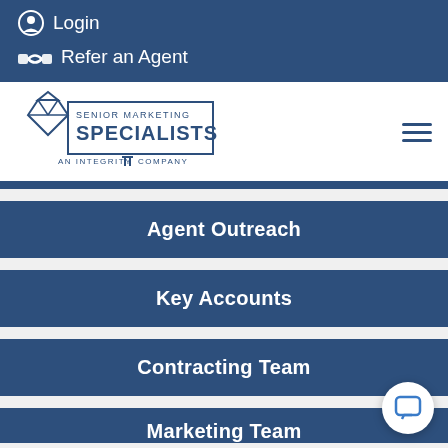Login
Refer an Agent
[Figure (logo): Senior Marketing Specialists - An Integrity Company logo]
Agent Outreach
Key Accounts
Contracting Team
Marketing Team